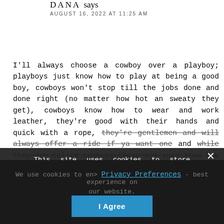DANA says
AUGUST 16, 2022 AT 11:25 AM
I'll always choose a cowboy over a playboy; playboys just know how to play at being a good boy, cowboys won't stop till the jobs done and done right (no matter how hot an sweaty they get), cowboys know how to wear and work leather, they're good with their hands and quick with a rope, they're gentlemen and will always offer a ride if ya want one and while they are called cowboys these men sure know how to fill out their jeans. Oh wait I meant, read the series. Men of the Saddle. I'll let you all know. Instead,
This site uses cookies to store information on your computer. Some are essential to make our site work; others help us improve your user experience. By using this site, you agree to our use of cookies. Read our privacy policy to learn more.
REPLY
We use cookies to ensure – best experience on our website.
Privacy Preferences
I Agree